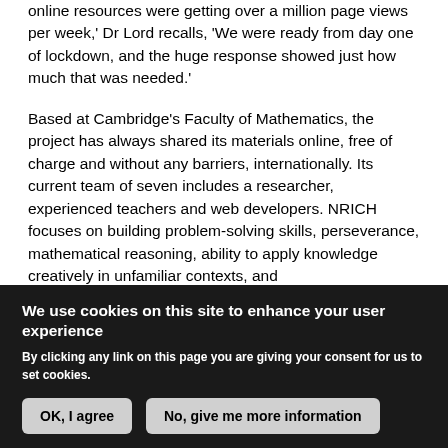online resources were getting over a million page views per week,' Dr Lord recalls, 'We were ready from day one of lockdown, and the huge response showed just how much that was needed.'
Based at Cambridge's Faculty of Mathematics, the project has always shared its materials online, free of charge and without any barriers, internationally. Its current team of seven includes a researcher, experienced teachers and web developers. NRICH focuses on building problem-solving skills, perseverance, mathematical reasoning, ability to apply knowledge creatively in unfamiliar contexts, and confidence in tackling challenges. The t...
We use cookies on this site to enhance your user experience
By clicking any link on this page you are giving your consent for us to set cookies.